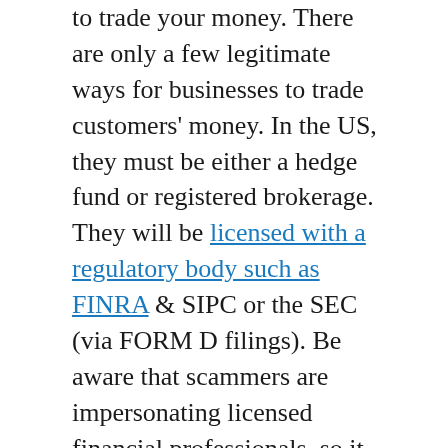to trade your money. There are only a few legitimate ways for businesses to trade customers' money. In the US, they must be either a hedge fund or registered brokerage. They will be licensed with a regulatory body such as FINRA & SIPC or the SEC (via FORM D filings). Be aware that scammers are impersonating licensed financial professionals, so it is necessary to independently verify their contact information via FINRA BrokerCheck, LinkedIn, etc.
Note that hedge funds are not even legally allowed to directly advertise their services, so if someone is messaging you via Instagram and asking for deposits in anonymous crypto payments, it is 100% a scam.